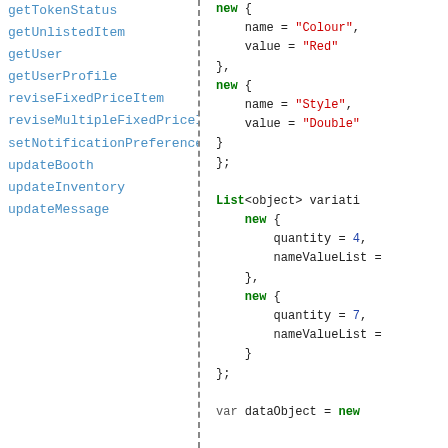getTokenStatus
getUnlistedItem
getUser
getUserProfile
reviseFixedPriceItem
reviseMultipleFixedPriceItems
setNotificationPreferences
updateBooth
updateInventory
updateMessage
new {
    name = "Colour",
    value = "Red"
},
new {
    name = "Style",
    value = "Double"
}
};

List<object> variati
    new {
        quantity = 4,
        nameValueList =
    },
    new {
        quantity = 7,
        nameValueList =
    }
};

var dataObject = new